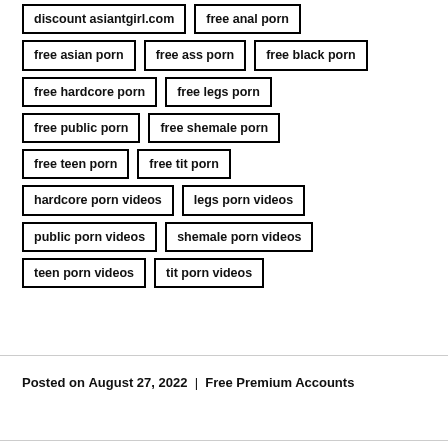discount asiantgirl.com
free anal porn
free asian porn
free ass porn
free black porn
free hardcore porn
free legs porn
free public porn
free shemale porn
free teen porn
free tit porn
hardcore porn videos
legs porn videos
public porn videos
shemale porn videos
teen porn videos
tit porn videos
Posted on August 27, 2022 | Free Premium Accounts